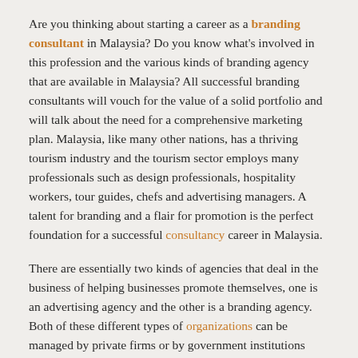Are you thinking about starting a career as a branding consultant in Malaysia? Do you know what's involved in this profession and the various kinds of branding agency that are available in Malaysia? All successful branding consultants will vouch for the value of a solid portfolio and will talk about the need for a comprehensive marketing plan. Malaysia, like many other nations, has a thriving tourism industry and the tourism sector employs many professionals such as design professionals, hospitality workers, tour guides, chefs and advertising managers. A talent for branding and a flair for promotion is the perfect foundation for a successful consultancy career in Malaysia.
There are essentially two kinds of agencies that deal in the business of helping businesses promote themselves, one is an advertising agency and the other is a branding agency. Both of these different types of organizations can be managed by private firms or by government institutions like Deutsche banks as well as the likes. A private company usually refers to itself as a branding consultancy while an agency of government carries out the public relations function of a branding firm.
One thing is for certain and that is when you operate as a